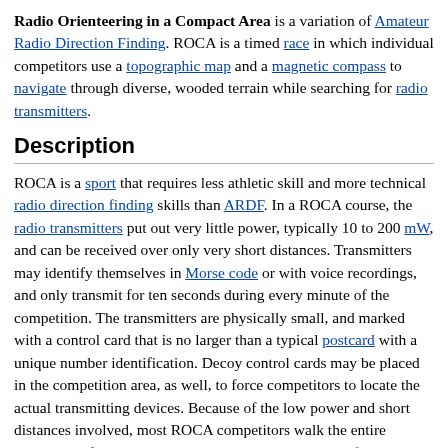Radio Orienteering in a Compact Area is a variation of Amateur Radio Direction Finding. ROCA is a timed race in which individual competitors use a topographic map and a magnetic compass to navigate through diverse, wooded terrain while searching for radio transmitters.
Description
ROCA is a sport that requires less athletic skill and more technical radio direction finding skills than ARDF. In a ROCA course, the radio transmitters put out very little power, typically 10 to 200 mW, and can be received over only very short distances. Transmitters may identify themselves in Morse code or with voice recordings, and only transmit for ten seconds during every minute of the competition. The transmitters are physically small, and marked with a control card that is no larger than a typical postcard with a unique number identification. Decoy control cards may be placed in the competition area, as well, to force competitors to locate the actual transmitting devices. Because of the low power and short distances involved, most ROCA competitors walk the entire course, and focus their attention on the radio direction finding tasks rather than navigation.
ROCA is not as popular as ARDF, and activity is limited to only